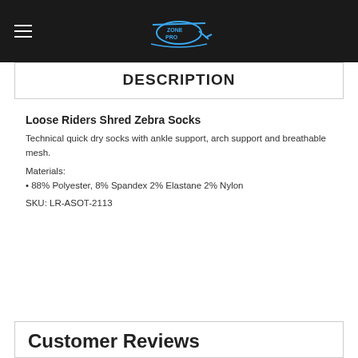Zone Pro logo navigation bar
DESCRIPTION
Loose Riders Shred Zebra Socks
Technical quick dry socks with ankle support, arch support and breathable mesh.
Materials:
• 88% Polyester, 8% Spandex 2% Elastane 2% Nylon
SKU: LR-ASOT-2113
Customer Reviews